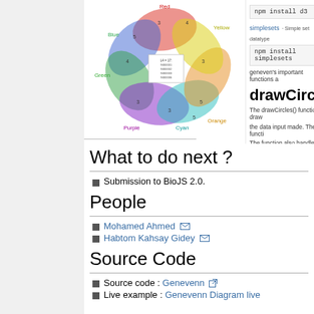[Figure (other): Venn diagram with 6 overlapping colored ellipses labeled Red, Blue, Yellow, Orange, Purple, Cyan, Green, with intersection labels and a legend box in the center]
What to do next ?
Submission to BioJS 2.0.
People
Mohamed Ahmed [mail icon]
Habtom Kahsay Gidey [mail icon]
Source Code
Source code : Genevenn [external link]
Live example : Genevenn Diagram live